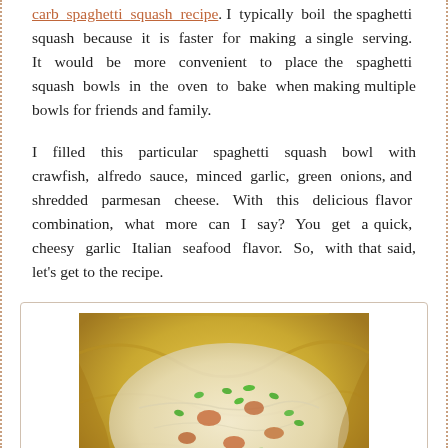carb spaghetti squash recipe. I typically boil the spaghetti squash because it is faster for making a single serving. It would be more convenient to place the spaghetti squash bowls in the oven to bake when making multiple bowls for friends and family.
I filled this particular spaghetti squash bowl with crawfish, alfredo sauce, minced garlic, green onions, and shredded parmesan cheese. With this delicious flavor combination, what more can I say? You get a quick, cheesy garlic Italian seafood flavor. So, with that said, let's get to the recipe.
[Figure (photo): A spaghetti squash bowl filled with crawfish alfredo sauce, garnished with chopped green onions, served in a hollowed spaghetti squash shell]